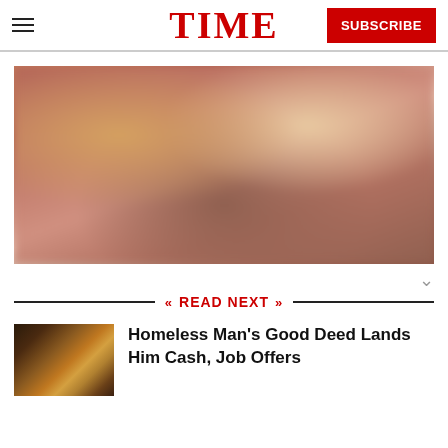TIME — SUBSCRIBE
[Figure (photo): Blurred reddish-brown photograph, appears to show an outdoor or indoor scene, heavily blurred]
READ NEXT
[Figure (photo): Small thumbnail image showing a car interior or parking lot at night]
Homeless Man's Good Deed Lands Him Cash, Job Offers